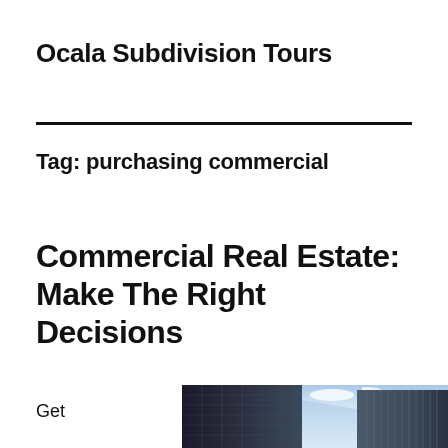Ocala Subdivision Tours
Tag: purchasing commercial
Commercial Real Estate: Make The Right Decisions
Get
[Figure (photo): Looking up at glass modern commercial buildings against a blue sky with clouds]